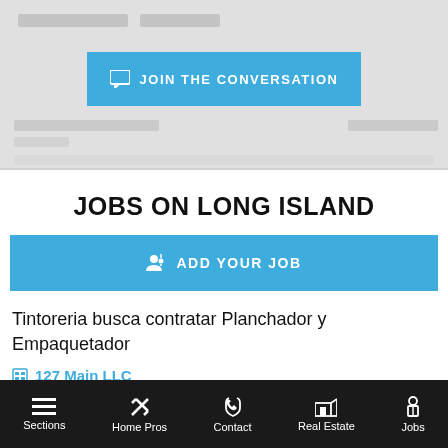[Figure (screenshot): Blurred top section of a webpage with a blue 'JOIN THE CONVERSATION' button]
JOBS ON LONG ISLAND
ADD YOUR JOB
Tintoreria busca contratar Planchador y Empaquetador
127 Main LLC
Groundskeeper
Sections  Home Pros  Contact  Real Estate  Jobs